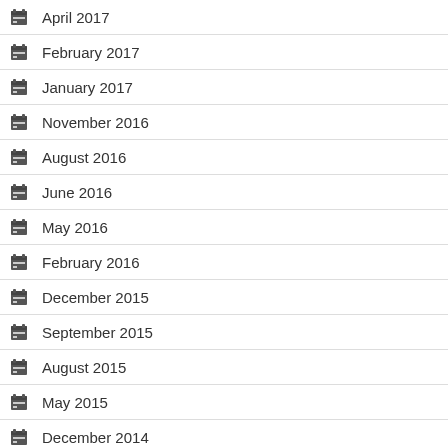April 2017
February 2017
January 2017
November 2016
August 2016
June 2016
May 2016
February 2016
December 2015
September 2015
August 2015
May 2015
December 2014